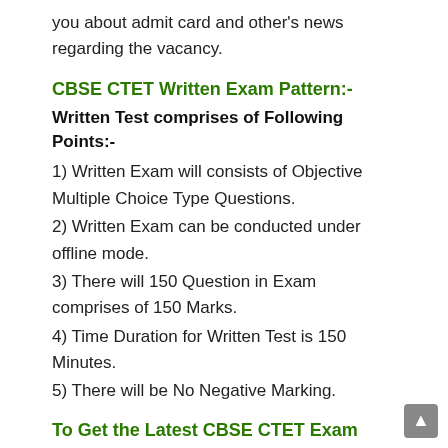you about admit card and other's news regarding the vacancy.
CBSE CTET Written Exam Pattern:-
Written Test comprises of Following Points:-
1) Written Exam will consists of Objective Multiple Choice Type Questions.
2) Written Exam can be conducted under offline mode.
3) There will 150 Question in Exam comprises of 150 Marks.
4) Time Duration for Written Test is 150 Minutes.
5) There will be No Negative Marking.
To Get the Latest CBSE CTET Exam Updates connect with Pravesh Result.
Candidates should regularly check the official website of